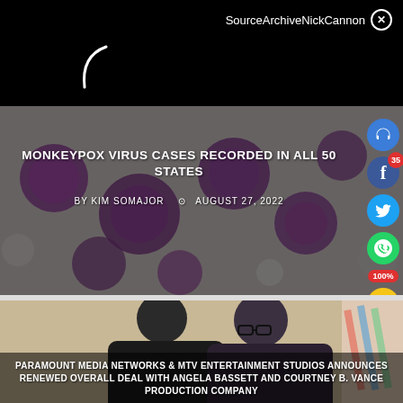SourceArchiveNickCannon ✕
[Figure (screenshot): Black loading screen with white curved arc indicator (loading spinner)]
[Figure (photo): Microscope image of monkeypox virus cells - purple circular shapes on gray background]
MONKEYPOX VIRUS CASES RECORDED IN ALL 50 STATES
BY KIM SOMAJOR  ⊙ AUGUST 27, 2022
[Figure (photo): Two people posing together - woman with straight hair and man wearing glasses]
PARAMOUNT MEDIA NETWORKS & MTV ENTERTAINMENT STUDIOS ANNOUNCES RENEWED OVERALL DEAL WITH ANGELA BASSETT AND COURTNEY B. VANCE PRODUCTION COMPANY